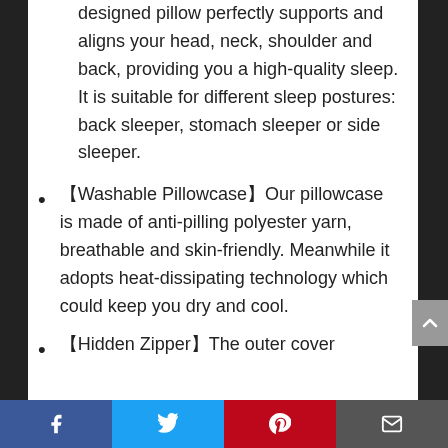designed pillow perfectly supports and aligns your head, neck, shoulder and back, providing you a high-quality sleep. It is suitable for different sleep postures: back sleeper, stomach sleeper or side sleeper.
【Washable Pillowcase】Our pillowcase is made of anti-pilling polyester yarn, breathable and skin-friendly. Meanwhile it adopts heat-dissipating technology which could keep you dry and cool.
【Hidden Zipper】The outer cover
Facebook | Twitter | Pinterest | Email